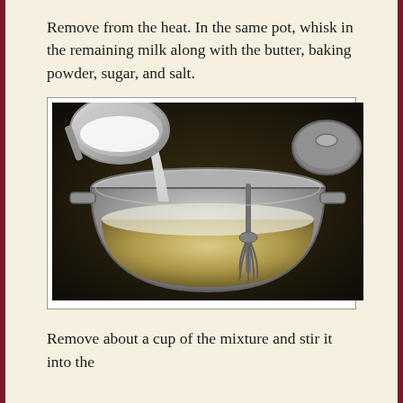Remove from the heat. In the same pot, whisk in the remaining milk along with the butter, baking powder, sugar, and salt.
[Figure (photo): A metal pot on a stove with a whisk inside. A ladle is pouring white milk or cream into the pot which contains a yellow mixture. Another pot lid is visible in the upper right background.]
Remove about a cup of the mixture and stir it into the